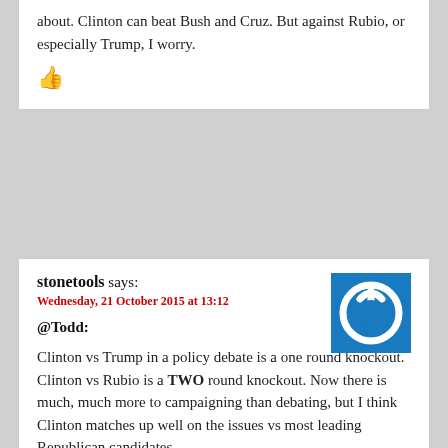about. Clinton can beat Bush and Cruz. But against Rubio, or especially Trump, I worry.
stonetools says:
Wednesday, 21 October 2015 at 13:12
@Todd:
Clinton vs Trump in a policy debate is a one round knockout.
Clinton vs Rubio is a TWO round knockout. Now there is much, much more to campaigning than debating, but I think Clinton matches up well on the issues vs most leading Republican candidates.